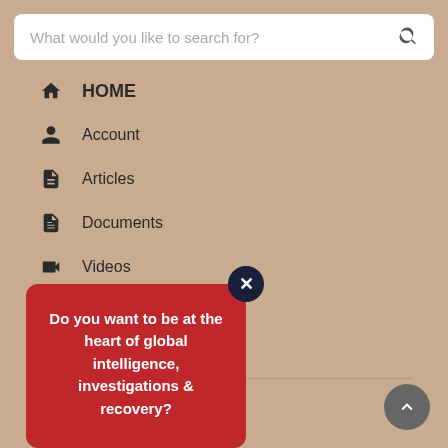What would you like to search for?
HOME
Account
Articles
Documents
Videos
Events
SUBSCRIBE
Individual
Do you want to be at the heart of global intelligence, investigations & recovery?